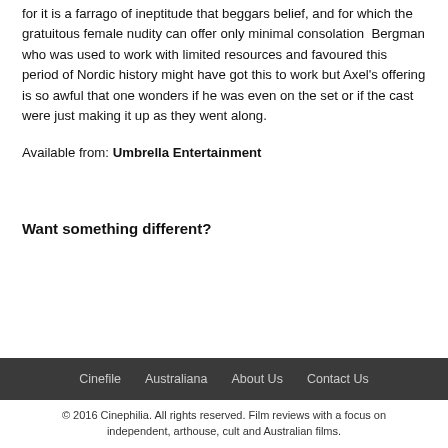for it is a farrago of ineptitude that beggars belief, and for which the gratuitous female nudity can offer only minimal consolation  Bergman who was used to work with limited resources and favoured this period of Nordic history might have got this to work but Axel's offering is so awful that one wonders if he was even on the set or if the cast were just making it up as they went along.
Available from: Umbrella Entertainment
Want something different?
Cinefile   Australiana   About Us   Contact Us
© 2016 Cinephilia. All rights reserved. Film reviews with a focus on independent, arthouse, cult and Australian films.